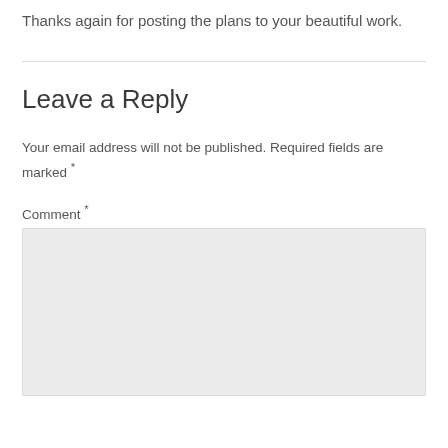Thanks again for posting the plans to your beautiful work.
Leave a Reply
Your email address will not be published. Required fields are marked *
Comment *